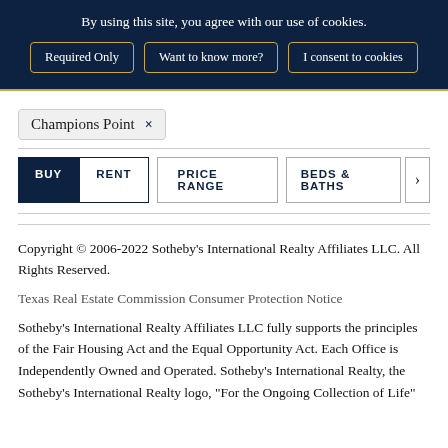By using this site, you agree with our use of cookies.
Required Only | Want to know more? | I consent to cookies
Champions Point ×
BUY  RENT  PRICE RANGE  BEDS & BATHS  >
Copyright © 2006-2022 Sotheby's International Realty Affiliates LLC. All Rights Reserved.
Texas Real Estate Commission Consumer Protection Notice
Sotheby's International Realty Affiliates LLC fully supports the principles of the Fair Housing Act and the Equal Opportunity Act. Each Office is Independently Owned and Operated. Sotheby's International Realty, the Sotheby's International Realty logo, "For the Ongoing Collection of Life"